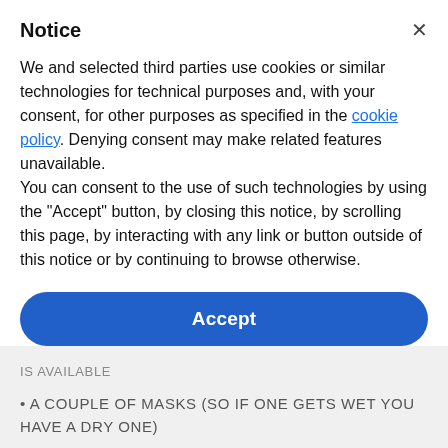Notice
We and selected third parties use cookies or similar technologies for technical purposes and, with your consent, for other purposes as specified in the cookie policy. Denying consent may make related features unavailable.
You can consent to the use of such technologies by using the “Accept” button, by closing this notice, by scrolling this page, by interacting with any link or button outside of this notice or by continuing to browse otherwise.
Accept
Learn more and customize
IS AVAILABLE
• A COUPLE OF MASKS (SO IF ONE GETS WET YOU HAVE A DRY ONE)